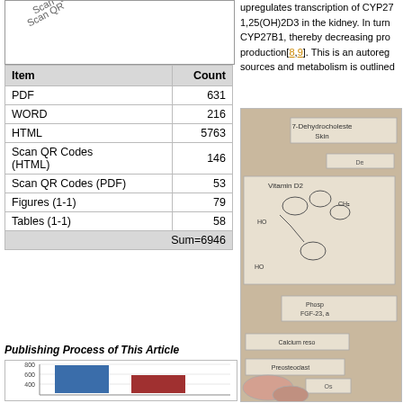[Figure (other): QR code scan area with rotated 'Scan QR Codes' text]
| Item | Count |
| --- | --- |
| PDF | 631 |
| WORD | 216 |
| HTML | 5763 |
| Scan QR Codes (HTML) | 146 |
| Scan QR Codes (PDF) | 53 |
| Figures (1-1) | 79 |
| Tables (1-1) | 58 |
Publishing Process of This Article
[Figure (bar-chart): Publishing Process of This Article]
upregulates transcription of CYP27... 1,25(OH)2D3 in the kidney. In turn... CYP27B1, thereby decreasing pro... production[8,9]. This is an autoreg... sources and metabolism is outlined...
[Figure (illustration): Vitamin D metabolism diagram showing 7-Dehydrocholesterol in Skin, Vitamin D2 chemical structure, Phosphate/FGF-23 pathway, Calcium resorption, Preosteoclast pathway]